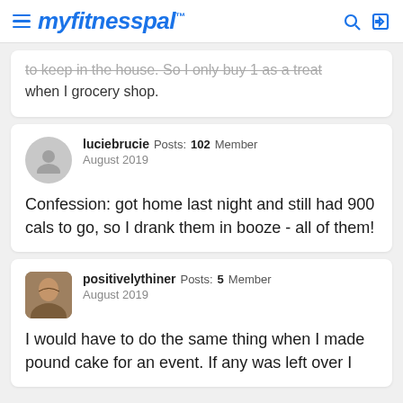myfitnesspal
to keep in the house. So I only buy 1 as a treat when I grocery shop.
luciebrucie  Posts: 102  Member  August 2019
Confession: got home last night and still had 900 cals to go, so I drank them in booze - all of them!
positivelythiner  Posts: 5  Member  August 2019
I would have to do the same thing when I made pound cake for an event. If any was left over I